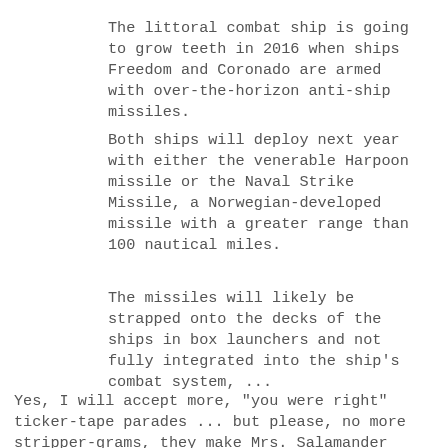The littoral combat ship is going to grow teeth in 2016 when ships Freedom and Coronado are armed with over-the-horizon anti-ship missiles.
Both ships will deploy next year with either the venerable Harpoon missile or the Naval Strike Missile, a Norwegian-developed missile with a greater range than 100 nautical miles.
The missiles will likely be strapped onto the decks of the ships in box launchers and not fully integrated into the ship's combat system, ...
Yes, I will accept more, "you were right" ticker-tape parades ... but please, no more stripper-grams, they make Mrs. Salamander grumpy.
The money is that even though the Naval Strike Missile was tested in a one-off earlier this year, in the end it will be the